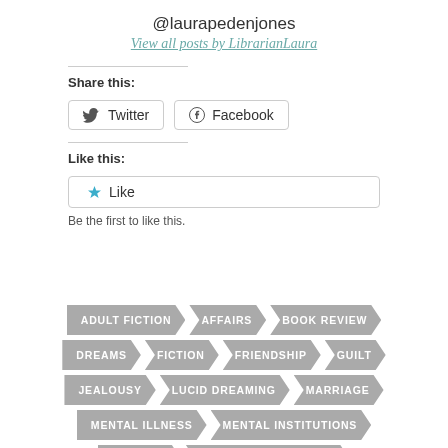@laurapedenjones
View all posts by LibrarianLaura
Share this:
Twitter  Facebook
Like this:
Like
Be the first to like this.
ADULT FICTION
AFFAIRS
BOOK REVIEW
DREAMS
FICTION
FRIENDSHIP
GUILT
JEALOUSY
LUCID DREAMING
MARRIAGE
MENTAL ILLNESS
MENTAL INSTITUTIONS
MYSTERY
MYSTERY & DETECTIVE
OBSESSION
PSYCHIATRISTS